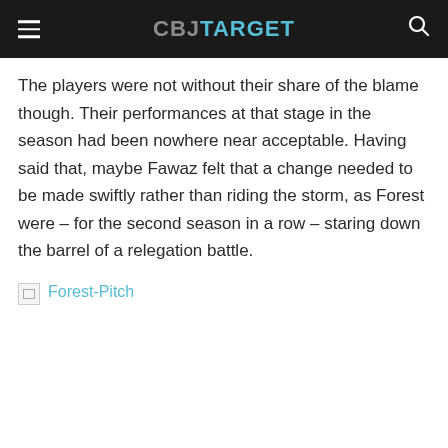CBJ TARGET
The players were not without their share of the blame though. Their performances at that stage in the season had been nowhere near acceptable. Having said that, maybe Fawaz felt that a change needed to be made swiftly rather than riding the storm, as Forest were – for the second season in a row – staring down the barrel of a relegation battle.
[Figure (photo): Broken image placeholder with link text 'Forest-Pitch']